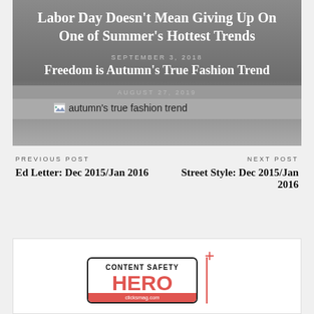Labor Day Doesn't Mean Giving Up On One of Summer's Hottest Trends
SEPTEMBER 3, 2018
Freedom is Autumn's True Fashion Trend
AUGUST 27, 2019
[Figure (other): Broken image placeholder with alt text: autumn's true fashion trend]
PREVIOUS POST
NEXT POST
Ed Letter: Dec 2015/Jan 2016
Street Style: Dec 2015/Jan 2016
[Figure (logo): Content Safety HERO badge with clicksmag.com URL and red plus symbol]